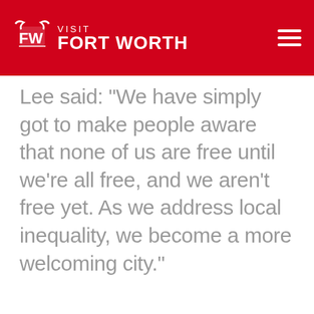Visit Fort Worth
Lee said: "We have simply got to make people aware that none of us are free until we're all free, and we aren't free yet. As we address local inequality, we become a more welcoming city."